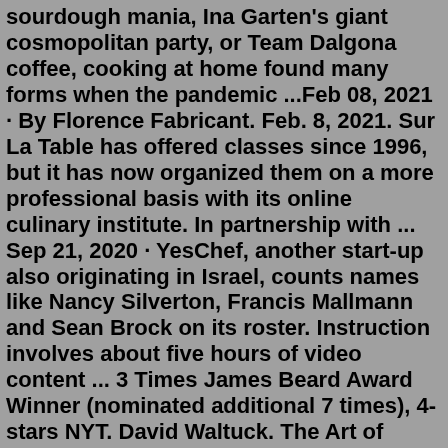sourdough mania, Ina Garten's giant cosmopolitan party, or Team Dalgona coffee, cooking at home found many forms when the pandemic ...Feb 08, 2021 · By Florence Fabricant. Feb. 8, 2021. Sur La Table has offered classes since 1996, but it has now organized them on a more professional basis with its online culinary institute. In partnership with ... Sep 21, 2020 · YesChef, another start-up also originating in Israel, counts names like Nancy Silverton, Francis Mallmann and Sean Brock on its roster. Instruction involves about five hours of video content ... 3 Times James Beard Award Winner (nominated additional 7 times), 4-stars NYT. David Waltuck. The Art of Cooking with Wine and Fresh Herbs with Chef David Waltuck ... Cooking Classes NYCCooking Classes Long IslandCooking Classes PhiladelphiaCooking Classes ChicagoCooking Classes LACooking Classes DCCooking Classes San FranciscoCooking Classes ...Sept. 21, 2020 The pandemic has brought a proliferation of new virtual cooking classes. #AskChefAnything...